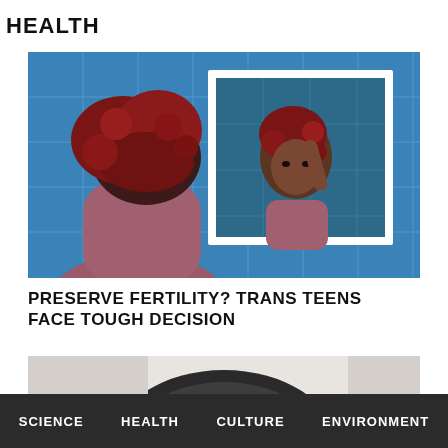HEALTH
[Figure (photo): A Black woman with red curly hair wearing a pink/mauve top, viewed from behind, looking at her reflection in a white-framed mirror mounted on a blue tiled wall. Her reflection shows her touching her hair.]
PRESERVE FERTILITY? TRANS TEENS FACE TOUGH DECISION
[Figure (photo): Partial photo showing top of a person's head with dark hair against a light background, partially cropped.]
SCIENCE   HEALTH   CULTURE   ENVIRONMENT